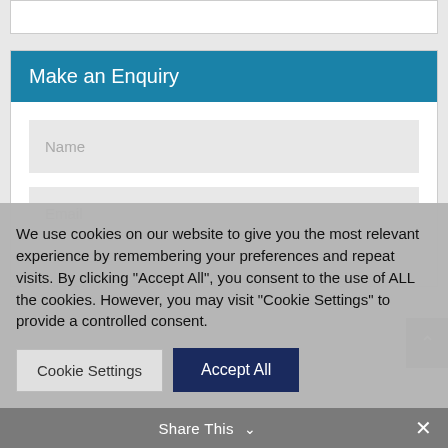Make an Enquiry
Name
Email
We use cookies on our website to give you the most relevant experience by remembering your preferences and repeat visits. By clicking "Accept All", you consent to the use of ALL the cookies. However, you may visit "Cookie Settings" to provide a controlled consent.
Cookie Settings
Accept All
Share This ∨  ✕